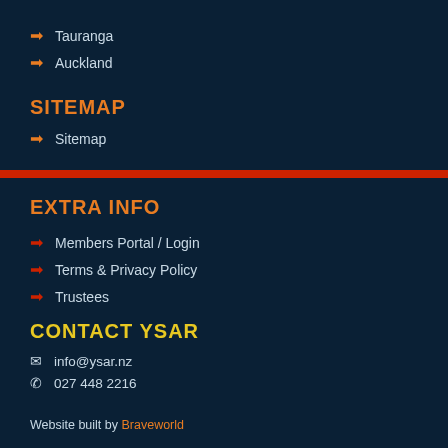→ Tauranga
→ Auckland
SITEMAP
→ Sitemap
EXTRA INFO
→ Members Portal / Login
→ Terms & Privacy Policy
→ Trustees
CONTACT YSAR
info@ysar.nz
027 448 2216
Website built by Braveworld